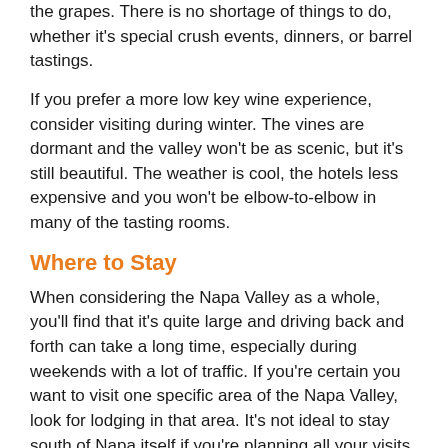the grapes. There is no shortage of things to do, whether it's special crush events, dinners, or barrel tastings.
If you prefer a more low key wine experience, consider visiting during winter. The vines are dormant and the valley won't be as scenic, but it's still beautiful. The weather is cool, the hotels less expensive and you won't be elbow-to-elbow in many of the tasting rooms.
Where to Stay
When considering the Napa Valley as a whole, you'll find that it's quite large and driving back and forth can take a long time, especially during weekends with a lot of traffic. If you're certain you want to visit one specific area of the Napa Valley, look for lodging in that area. It's not ideal to stay south of Napa itself if you're planning all your visits up north in Calistoga.
Planning Your Winery Visits